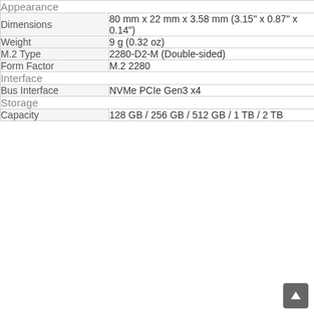| Appearance |  |
| Dimensions | 80 mm x 22 mm x 3.58 mm (3.15" x 0.87" x 0.14") |
| Weight | 9 g (0.32 oz) |
| M.2 Type | 2280-D2-M (Double-sided) |
| Form Factor | M.2 2280 |
| Interface |  |
| Bus Interface | NVMe PCIe Gen3 x4 |
| Storage |  |
| Capacity | 128 GB / 256 GB / 512 GB / 1 TB / 2 TB |